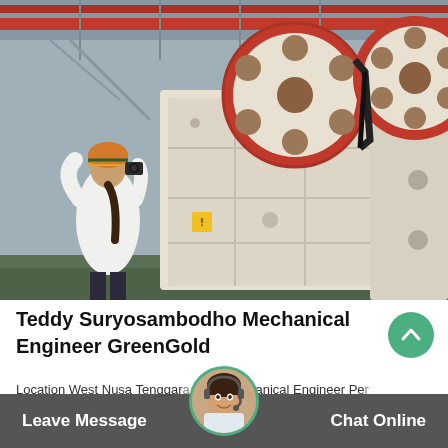[Figure (photo): Industrial jaw crusher machine in a factory/warehouse setting. A person wearing an orange beanie hat and white jacket is photographing the large white and red machinery. Two large red flywheel discs are visible on top of the machine body.]
Teddy Suryosambodho Mechanical Engineer GreenGold
Location West Nusa Tenggara Role Mechanical Engineer Pe... study f...erland cor...
Leave Message   Chat Online